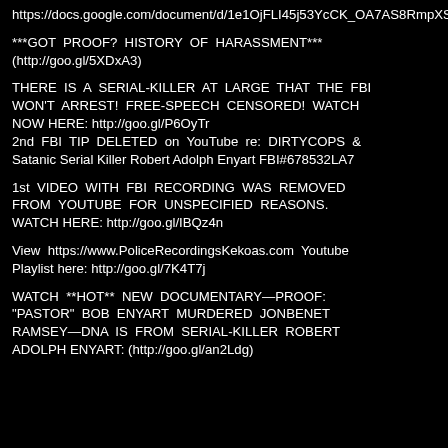https://docs.google.com/document/d/1e1OjFLI45j53YcCK_OA7AS8RmpXSRbC96EWcwEoGdTw/edit
***GOT PROOF? HISTORY OF HARASSMENT*** (http://goo.gl/5XDxA3)
THERE IS A SERIAL-KILLER AT LARGE THAT THE FBI WON'T ARREST! FREE-SPEECH CENSORED! WATCH NOW HERE: http://goo.gl/P6OyTr
2nd FBI TIP DELETED on YouTube re: DIRTYCOPS & Satanic Serial Killer Robert Adolph Enyart FBI#678532LA7
1st VIDEO WITH FBI RECORDING WAS REMOVED FROM YOUTUBE FOR UNSPECIFIED REASONS. WATCH HERE: http://goo.gl/IBQz4n
View https://www.PoliceRecordingsKekoas.com Youtube Playlist here: http://goo.gl/7K4T7j
WATCH **HOT** NEW DOCUMENTARY—PROOF: "PASTOR" BOB ENYART MURDERED JONBENET RAMSEY—DNA IS FROM SERIAL-KILLER ROBERT ADOLPH ENYART: (http://goo.gl/an2Ldg)